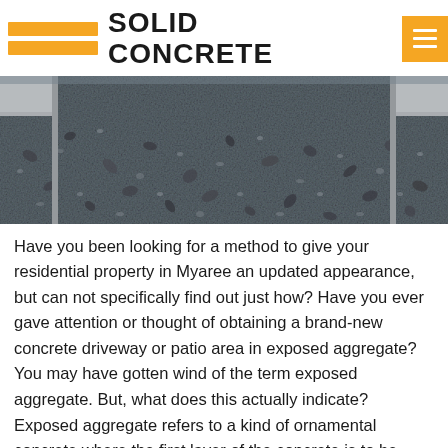SOLID CONCRETE
[Figure (photo): Close-up photograph of exposed aggregate concrete surface showing rough texture with embedded stones, with wall corners visible at top left and right]
Have you been looking for a method to give your residential property in Myaree an updated appearance, but can not specifically find out just how? Have you ever gave attention or thought of obtaining a brand-new concrete driveway or patio area in exposed aggregate? You may have gotten wind of the term exposed aggregate. But, what does this actually indicate? Exposed aggregate refers to a kind of ornamental concrete where the first layer of the concrete is to be exposed or gotten rid of in order to create a rough surface and showing the concretes applied stones. You probably have seen this type of surface in shopping